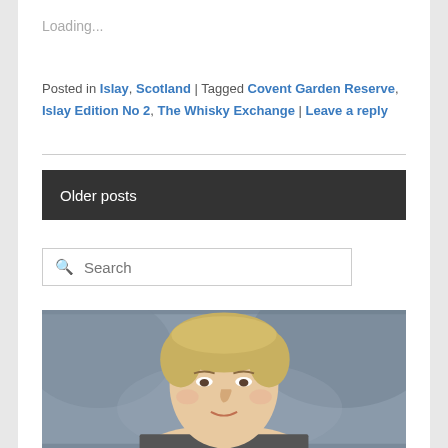Loading...
Posted in Islay, Scotland | Tagged Covent Garden Reserve, Islay Edition No 2, The Whisky Exchange | Leave a reply
Older posts
[Figure (other): Search input box with magnifying glass icon and placeholder text 'Search']
[Figure (photo): Portrait photo of a blonde woman with short hair against a grey/blue background, cropped at forehead and chin]